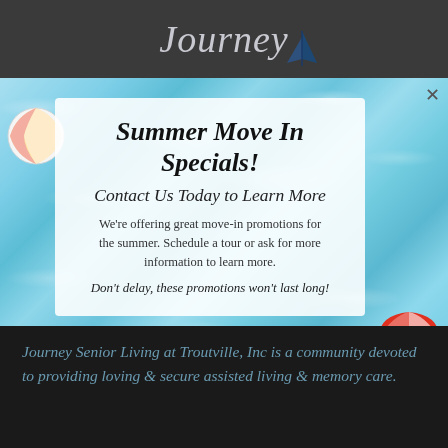[Figure (logo): Journey senior living logo with sailboat icon, italic script text on dark gray header bar]
[Figure (infographic): Summer Move In Specials popup modal with pool water background, beach ball, beach umbrella. White semi-transparent card with promotional text.]
Summer Move In Specials!
Contact Us Today to Learn More
We're offering great move-in promotions for the summer. Schedule a tour or ask for more information to learn more.
Don't delay, these promotions won't last long!
Journey Senior Living at Troutville, Inc is a community devoted to providing loving & secure assisted living & memory care.